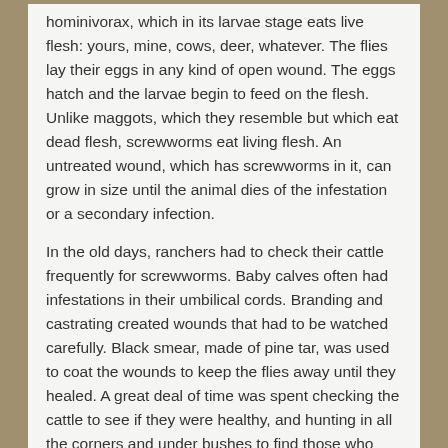hominivorax, which in its larvae stage eats live flesh: yours, mine, cows, deer, whatever. The flies lay their eggs in any kind of open wound. The eggs hatch and the larvae begin to feed on the flesh. Unlike maggots, which they resemble but which eat dead flesh, screwworms eat living flesh. An untreated wound, which has screwworms in it, can grow in size until the animal dies of the infestation or a secondary infection.
In the old days, ranchers had to check their cattle frequently for screwworms. Baby calves often had infestations in their umbilical cords. Branding and castrating created wounds that had to be watched carefully. Black smear, made of pine tar, was used to coat the wounds to keep the flies away until they healed. A great deal of time was spent checking the cattle to see if they were healthy, and hunting in all the corners and under bushes to find those who went into hiding if they had screwworms and didn't feel well. That's what cowboys spent most of their time doing. You may remember reading Eva Wilbur-Cruce's memoir, in which she tells of